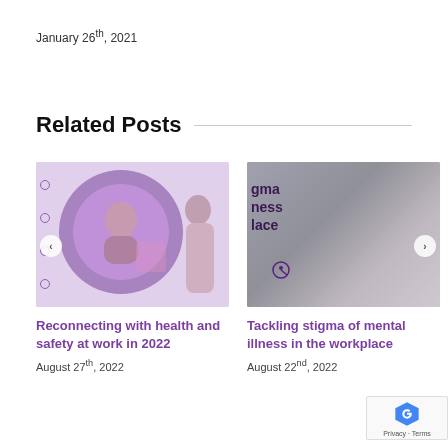January 26th, 2021
Related Posts
[Figure (photo): Two women in a workplace setting, one smiling at a laptop; purple circle graphic overlay on lavender background]
Reconnecting with health and safety at work in 2022
August 27th, 2022
[Figure (photo): Woman with head in hand looking stressed; partially visible text overlay reading 'gma', 'ness', 'lace' and a cursor click icon]
Tackling stigma of mental illness in the workplace
August 22nd, 2022